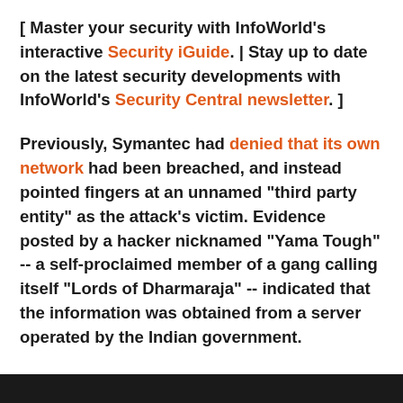[ Master your security with InfoWorld's interactive Security iGuide. | Stay up to date on the latest security developments with InfoWorld's Security Central newsletter. ]
Previously, Symantec had denied that its own network had been breached, and instead pointed fingers at an unnamed "third party entity" as the attack's victim. Evidence posted by a hacker nicknamed "Yama Tough" -- a self-proclaimed member of a gang calling itself "Lords of Dharmaraja" -- indicated that the information was obtained from a server operated by the Indian government.